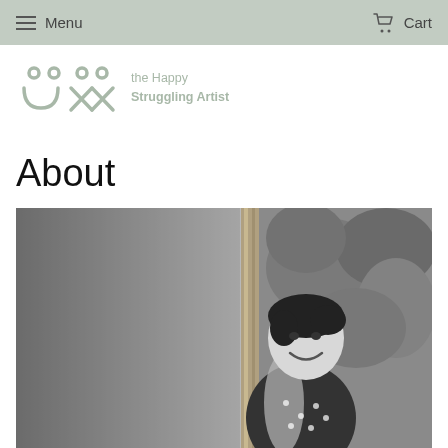Menu   Cart
[Figure (logo): The Happy Struggling Artist logo with two abstract face marks and text 'the Happy Struggling Artist']
About
[Figure (photo): Black and white portrait photo of a smiling woman with short dark hair, wearing a polka dot dress, leaning against a wooden post with bamboo/greenery in the background]